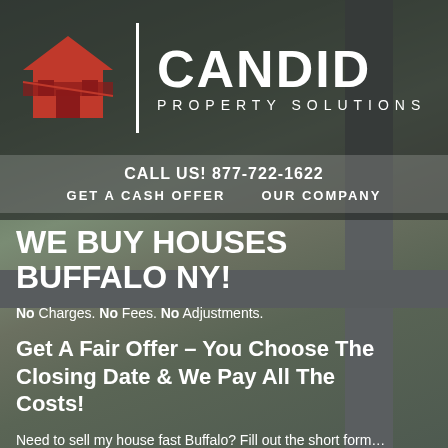[Figure (photo): Aerial/drone view of a residential neighborhood with houses, roads, driveways, and green areas, serving as the background image for a real estate company advertisement.]
CANDID PROPERTY SOLUTIONS
CALL US! 877-722-1622
GET A CASH OFFER    OUR COMPANY
WE BUY HOUSES BUFFALO NY!
No Charges. No Fees. No Adjustments.
Get A Fair Offer – You Choose The Closing Date & We Pay All The Costs!
Need to sell my house fast Buffalo? Fill out the short form…